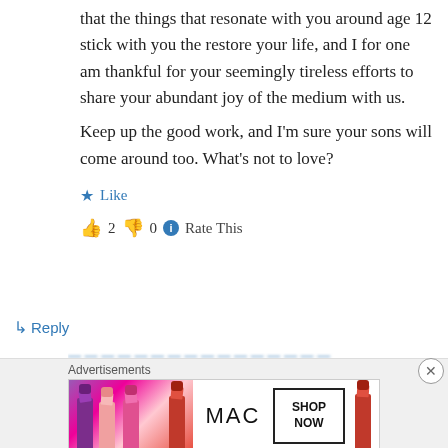that the things that resonate with you around age 12 stick with you the restore your life, and I for one am thankful for your seemingly tireless efforts to share your abundant joy of the medium with us.
Keep up the good work, and I'm sure your sons will come around too. What's not to love?
★ Like
👍 2 👎 0 ℹ Rate This
↳ Reply
Advertisements
[Figure (photo): MAC cosmetics advertisement showing lipsticks and brand logo with SHOP NOW button]